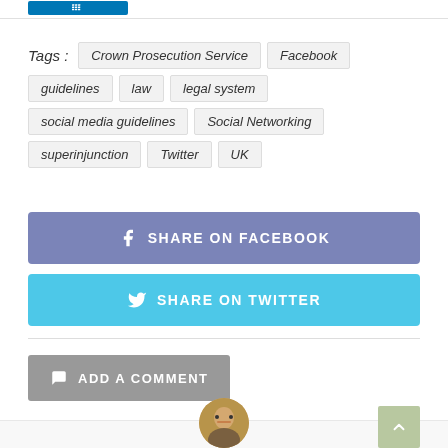[Figure (other): LinkedIn share button icon at top left]
Tags : Crown Prosecution Service  Facebook  guidelines  law  legal system  social media guidelines  Social Networking  superinjunction  Twitter  UK
[Figure (other): SHARE ON FACEBOOK button]
[Figure (other): SHARE ON TWITTER button]
[Figure (other): ADD A COMMENT button]
[Figure (photo): Author circular avatar photo at bottom center]
[Figure (other): Back to top arrow button at bottom right]